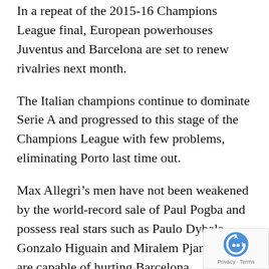In a repeat of the 2015-16 Champions League final, European powerhouses Juventus and Barcelona are set to renew rivalries next month.
The Italian champions continue to dominate Serie A and progressed to this stage of the Champions League with few problems, eliminating Porto last time out.
Max Allegri's men have not been weakened by the world-record sale of Paul Pogba and possess real stars such as Paulo Dybala, Gonzalo Higuain and Miralem Pjanic, who are capable of hurting Barcelona.
Luis Enrique's team performed an amazing feat of escapology in the last 16, coming back from a 4-0 deficit to progress against Paris Saint-Germain in extraordinary fashion.